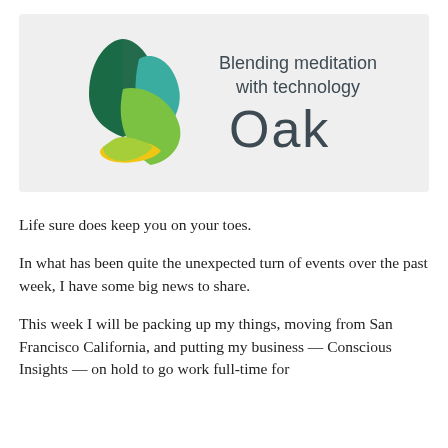[Figure (logo): Oak app logo banner on light grey background. Three overlapping leaf shapes in dark green, teal/green, and yellow-green with a yellow crescent base. Text reads 'Blending meditation with technology' above the large word 'Oak'.]
Life sure does keep you on your toes.
In what has been quite the unexpected turn of events over the past week, I have some big news to share.
This week I will be packing up my things, moving from San Francisco California, and putting my business — Conscious Insights — on hold to go work full-time for